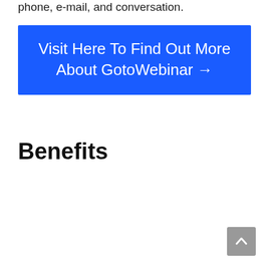phone, e-mail, and conversation.
[Figure (other): Blue call-to-action button with text: Visit Here To Find Out More About GotoWebinar →]
Benefits
[Figure (other): Gray scroll-to-top button with upward chevron arrow in bottom right corner]